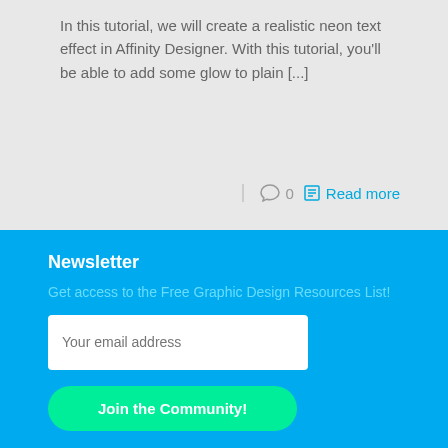In this tutorial, we will create a realistic neon text effect in Affinity Designer. With this tutorial, you'll be able to add some glow to plain [...]
0  Read more
Newsletter
Get access to the Free Graphic Design Resources List!
Your email address
Join the Community!